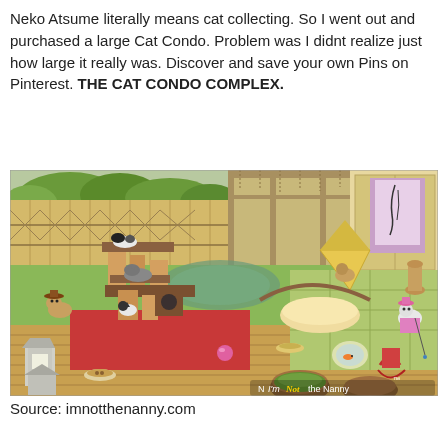Neko Atsume literally means cat collecting. So I went out and purchased a large Cat Condo. Problem was I didnt realize just how large it really was. Discover and save your own Pins on Pinterest. THE CAT CONDO COMPLEX.
[Figure (illustration): Illustration from Neko Atsume game showing a Japanese-style yard scene with multiple cartoon cats, a cat condo/scratcher tower, pyramid tent, pond, wooden deck, tatami room, and various cat toys and food bowls. Watermark reads 'N I'm Not the Nanny' in bottom right corner.]
Source: imnotthenanny.com